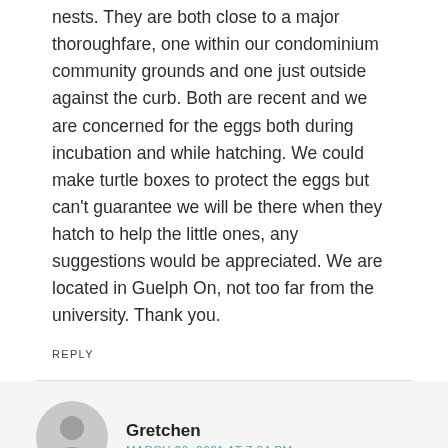nests. They are both close to a major thoroughfare, one within our condominium community grounds and one just outside against the curb. Both are recent and we are concerned for the eggs both during incubation and while hatching. We could make turtle boxes to protect the eggs but can't guarantee we will be there when they hatch to help the little ones, any suggestions would be appreciated. We are located in Guelph On, not too far from the university. Thank you.
REPLY
Gretchen
MARCH 20, 2021 AT 7:34 PM
We saw a turtle from the long behind our house